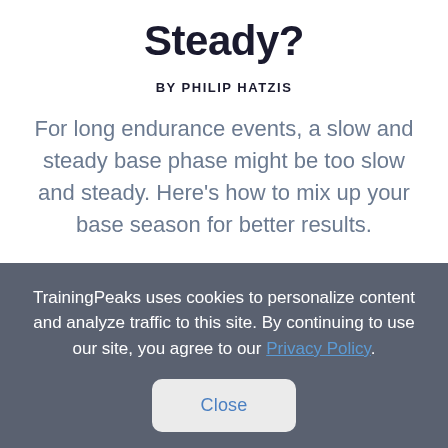Steady?
BY PHILIP HATZIS
For long endurance events, a slow and steady base phase might be too slow and steady. Here's how to mix up your base season for better results.
TrainingPeaks uses cookies to personalize content and analyze traffic to this site. By continuing to use our site, you agree to our Privacy Policy.
Close